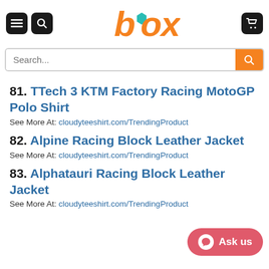[Figure (logo): Box logo with orange stylized text and teal hexagon icon]
Search...
81. TTech 3 KTM Factory Racing MotoGP Polo Shirt
See More At: cloudyteeshirt.com/TrendingProduct
82. Alpine Racing Block Leather Jacket
See More At: cloudyteeshirt.com/TrendingProduct
83. Alphatauri Racing Block Leather Jacket
See More At: cloudyteeshirt.com/TrendingProduct